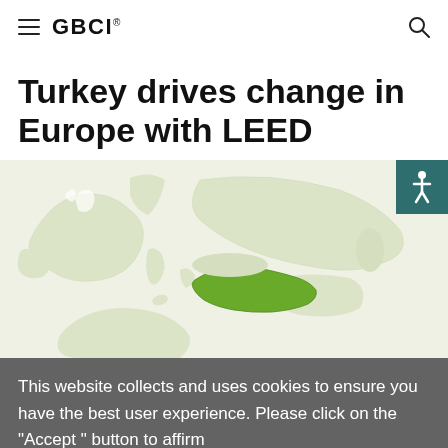GBCI
Turkey drives change in Europe with LEED
[Figure (map): A light-colored map of Europe and surrounding regions with Turkey highlighted in bright green, indicating its significance related to LEED certification activity.]
This website collects and uses cookies to ensure you have the best user experience. Please click on the "Accept " button to affirm